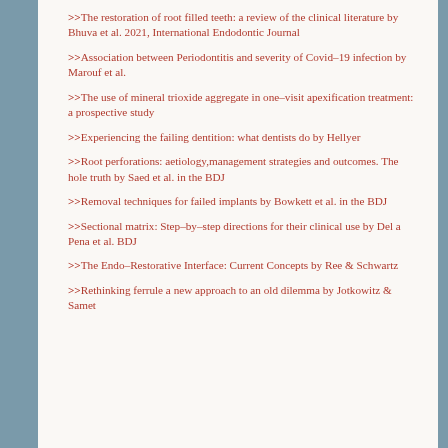>>The restoration of root filled teeth: a review of the clinical literature by Bhuva et al. 2021, International Endodontic Journal
>>Association between Periodontitis and severity of Covid-19 infection by Marouf et al.
>>The use of mineral trioxide aggregate in one-visit apexification treatment: a prospective study
>>Experiencing the failing dentition: what dentists do by Hellyer
>>Root perforations: aetiology, management strategies and outcomes. The hole truth by Saed et al. in the BDJ
>>Removal techniques for failed implants by Bowkett et al. in the BDJ
>>Sectional matrix: Step-by-step directions for their clinical use by Del a Pena et al. BDJ
>>The Endo-Restorative Interface: Current Concepts by Ree & Schwartz
>>Rethinking ferrule a new approach to an old dilemma by Jotkowitz & Samet